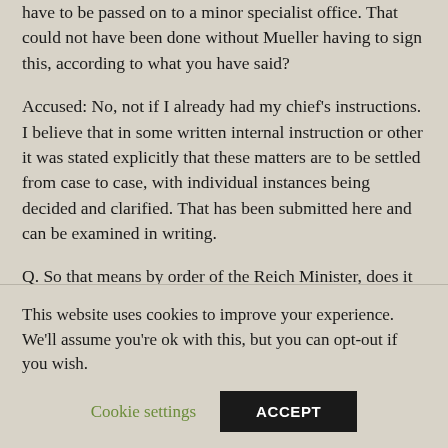have to be passed on to a minor specialist office. That could not have been done without Mueller having to sign this, according to what you have said?
Accused: No, not if I already had my chief's instructions. I believe that in some written internal instruction or other it was stated explicitly that these matters are to be settled from case to case, with individual instances being decided and clarified. That has been submitted here and can be examined in writing.
Q. So that means by order of the Reich Minister, does it not?
This website uses cookies to improve your experience. We'll assume you're ok with this, but you can opt-out if you wish.
Cookie settings
ACCEPT